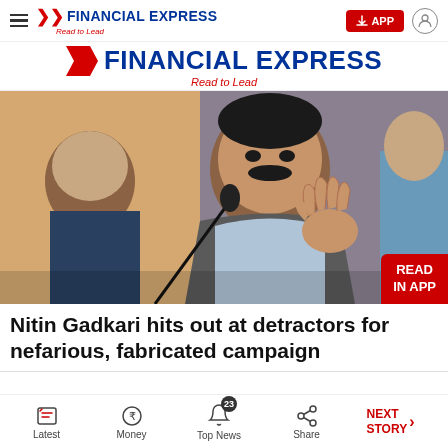FINANCIAL EXPRESS Read to Lead
[Figure (logo): Financial Express banner logo with red chevron, blue text FINANCIAL EXPRESS, red italic tagline Read to Lead]
[Figure (photo): Nitin Gadkari speaking at a event, gesturing with right hand, wearing a grey vest over light blue shirt, microphone in foreground, other persons partially visible]
Nitin Gadkari hits out at detractors for nefarious, fabricated campaign
Latest  Money  Top News 23  Share  NEXT STORY